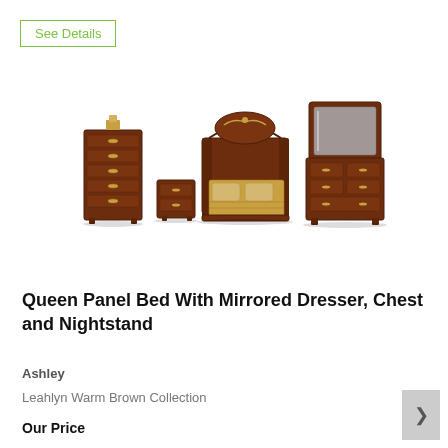See Details
[Figure (photo): Bedroom furniture set including a queen panel bed with decorative headboard, a tall chest of drawers, a nightstand, a mirrored dresser, all in warm brown finish.]
Queen Panel Bed With Mirrored Dresser, Chest and Nightstand
Ashley
Leahlyn Warm Brown Collection
Our Price